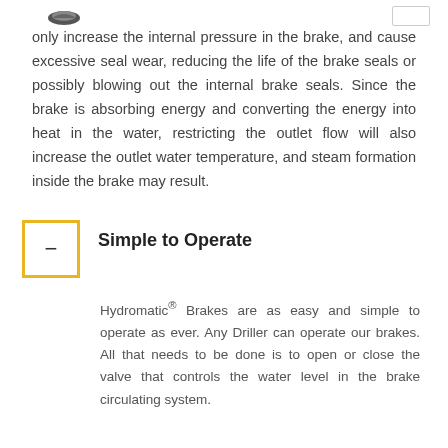only increase the internal pressure in the brake, and cause excessive seal wear, reducing the life of the brake seals or possibly blowing out the internal brake seals. Since the brake is absorbing energy and converting the energy into heat in the water, restricting the outlet flow will also increase the outlet water temperature, and steam formation inside the brake may result.
Simple to Operate
Hydromatic® Brakes are as easy and simple to operate as ever. Any Driller can operate our brakes. All that needs to be done is to open or close the valve that controls the water level in the brake circulating system.